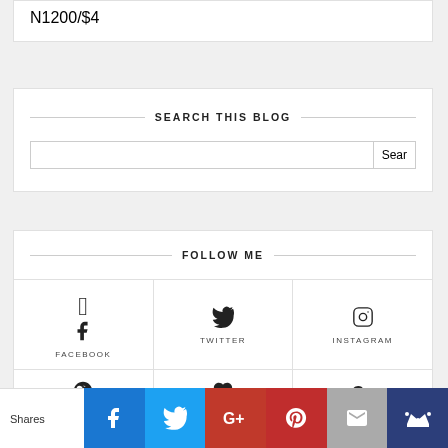N1200/$4
SEARCH THIS BLOG
FOLLOW ME
[Figure (infographic): Social media follow icons grid: Facebook, Twitter, Instagram in top row; Pinterest, heart/Bloglovin, Google+ in bottom row]
Shares | Facebook | Twitter | Google+ | Pinterest | Email | Crown